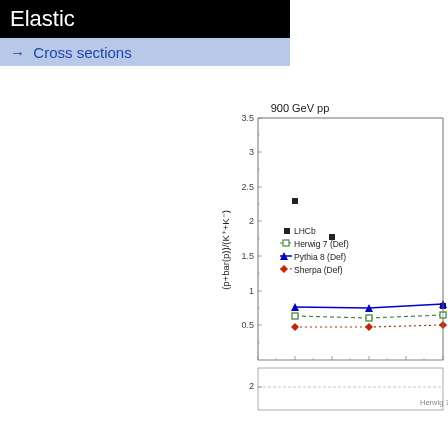Elastic
→ Cross sections
[Figure (continuous-plot): Particle ratio (p+pbar)/(K++K-) vs momentum at 900 GeV pp. Shows data points from LHCb (filled squares) and three MC predictions: Herwig 7 (Def) dashed green open squares, Pythia 8 (Def) solid blue triangles, Sherpa (Def) dotted red diamonds. Data points at ~2.3 and ~1.8; MC lines at ~0.75 (Pythia), ~0.63 (Herwig), ~0.47 (Sherpa). Ratio panel at bottom showing ~2.]